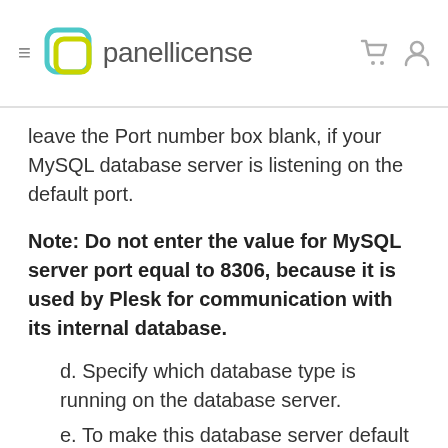panellicense
leave the Port number box blank, if your MySQL database server is listening on the default port.
Note: Do not enter the value for MySQL server port equal to 8306, because it is used by Plesk for communication with its internal database.
d. Specify which database type is running on the database server.
e. To make this database server default for hosting customers' databases, select the Hosting servers as default for...